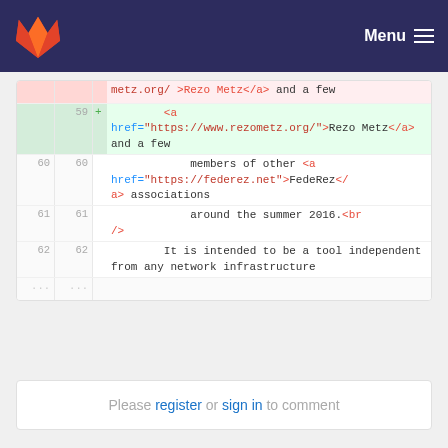GitLab – Menu
[Figure (screenshot): Code diff view showing HTML lines 59-62 with syntax highlighting and line numbers. Added line 59 shows anchor tag with href to rezometz.org. Lines 60, 61, 62 show members of other FedeRez associations around 2016 and tool description.]
Please register or sign in to comment